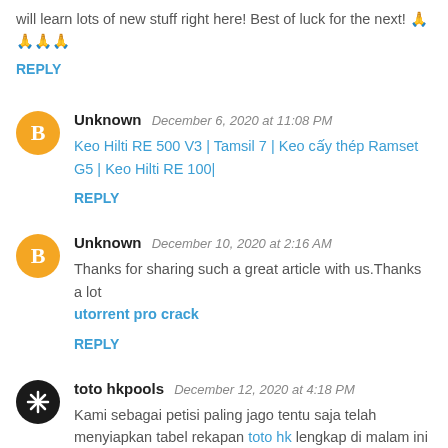will learn lots of new stuff right here! Best of luck for the next! 🙏🙏🙏🙏
REPLY
Unknown  December 6, 2020 at 11:08 PM
Keo Hilti RE 500 V3 | Tamsil 7 | Keo cấy thép Ramset G5 | Keo Hilti RE 100|
REPLY
Unknown  December 10, 2020 at 2:16 AM
Thanks for sharing such a great article with us.Thanks a lot utorrent pro crack
REPLY
toto hkpools  December 12, 2020 at 4:18 PM
Kami sebagai petisi paling jago tentu saja telah menyiapkan tabel rekapan toto hk lengkap di malam ini yang bisa kamu gunakan dalam mendapatkan keluaran hk resmi di hari ini